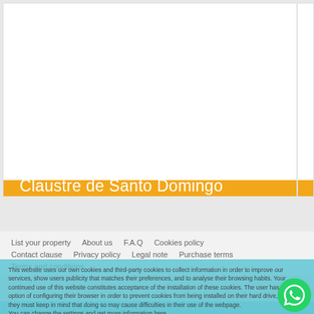Claustre de Santo Domingo
List your property
About us
F.A.Q
Cookies policy
Contact clause
Privacy policy
Legal note
Purchase terms
Terms and conditions
This website uses our own cookies and third-party cookies to collect information in order to improve our services, show users publicity that matches their preferences, and to analyse their browsing habits. Your continued use of this website constitutes acceptance of the installation of these cookies. The user has the option of configuring their browser in order to prevent cookies from being installed on their hard drive, although they must keep in mind that doing so may cause difficulties in their use of the webpage.
You can change the settings and get more information here.
DONE
PLEASE SELECT DATE AND NUMBER OF GUESTS